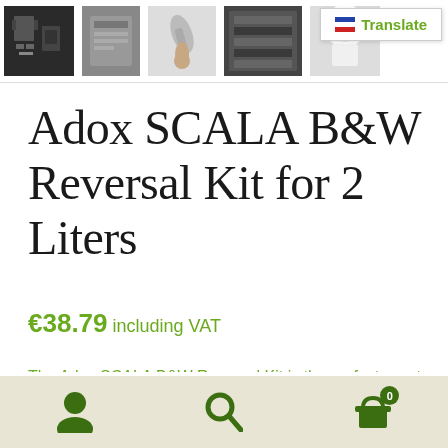[Figure (screenshot): Row of product thumbnail images at top of page]
Translate
Adox SCALA B&W Reversal Kit for 2 Liters
€38.79 including VAT
The Adox SCALA B&W Reversal Kit is the perfect way to dive into B&W slide processing. Because of the dichromate-free bleach bath, the process is eco-friendlier
[Figure (screenshot): Bottom navigation toolbar with user, search, and cart icons]